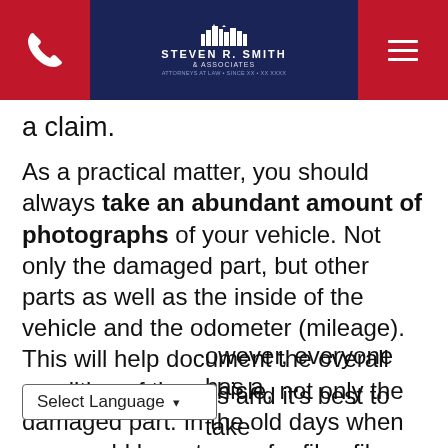Steven R. Smith & Associates — law firm website header with phone and menu buttons
a claim.
As a practical matter, you should always take an abundant amount of photographs of your vehicle. Not only the damaged part, but other parts as well as the inside of the vehicle and the odometer (mileage). This will help document the overall condition of the vehicle, not only the damaged part. In the old days when you would have to pay for film, film development, and printing, photos were [however, everyone has a] [ys and it's best to take]